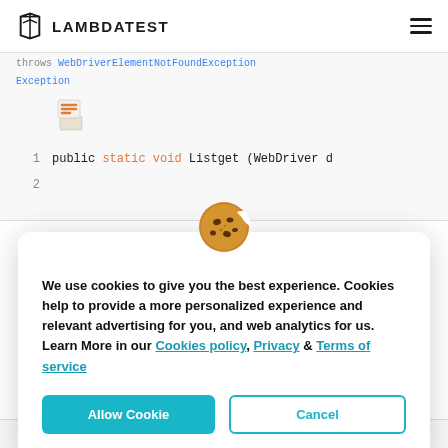LAMBDATEST
throws WebDriverElementNotFoundException
Exception
[Figure (illustration): Stack Overflow logo icon (orange book/lightning bolt emoji)]
1  public static void Listget (WebDriver d
2
[Figure (illustration): Cookie emoji icon]
We use cookies to give you the best experience. Cookies help to provide a more personalized experience and relevant advertising for you, and web analytics for us. Learn More in our Cookies policy, Privacy & Terms of service
Allow Cookie   Cancel
1  int var ele_size = driver.findElements(B